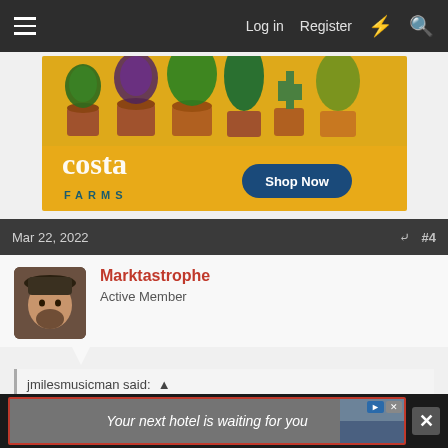Log in  Register
[Figure (photo): Costa Farms advertisement banner showing potted plants on yellow background with 'Shop Now' button]
Mar 22, 2022  #4
Marktastrophe
Active Member
jmilesmusicman said: ↑
Never seen them, but love the name! How did it go with them? Did you use them? What thinner did you use?
[Figure (photo): Advertisement banner: 'Your next hotel is waiting for you']